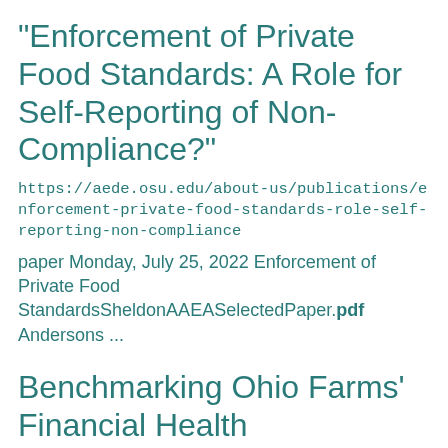"Enforcement of Private Food Standards: A Role for Self-Reporting of Non-Compliance?"
https://aede.osu.edu/about-us/publications/enforcement-private-food-standards-role-self-reporting-non-compliance
paper Monday, July 25, 2022 Enforcement of Private Food StandardsSheldonAAEASelectedPaper.pdf Andersons ...
Benchmarking Ohio Farms' Financial Health
https://aede.osu.edu/about-us/publications/benchmarking-ohio-farms-financial-health